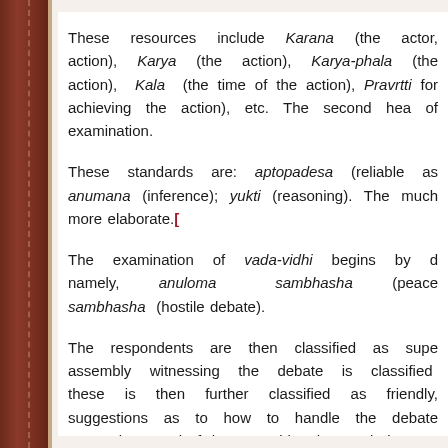These resources include Karana (the actor, action), Karya (the action), Karya-phala (the action), Kala (the time of the action), Pravrtti for achieving the action), etc. The second hea of examination.
These standards are: aptopadesa (reliable as anumana (inference); yukti (reasoning). The much more elaborate.[
The examination of vada-vidhi begins by d namely, anuloma sambhasha (peace sambhasha (hostile debate).
The respondents are then classified as supe assembly witnessing the debate is classified these is then further classified as friendly, suggestions as to how to handle the debate respondents and of the assembly. The treatis items a thorough knowledge of which is esse a debate.]